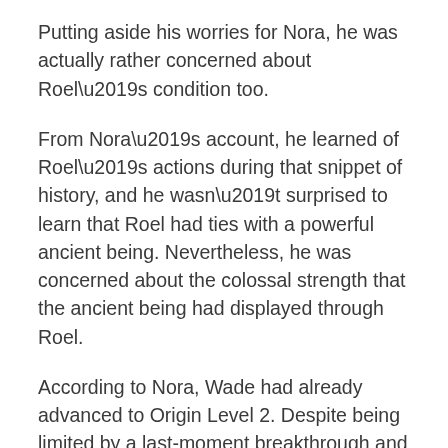Putting aside his worries for Nora, he was actually rather concerned about Roel’s condition too.
From Nora’s account, he learned of Roel’s actions during that snippet of history, and he wasn’t surprised to learn that Roel had ties with a powerful ancient being. Nevertheless, he was concerned about the colossal strength that the ancient being had displayed through Roel.
According to Nora, Wade had already advanced to Origin Level 2. Despite being limited by a last-moment breakthrough and severe injuries, it was still unthinkable that he would actually be defeated by Roel. After all, Roel was someone who didn’t have an Origin